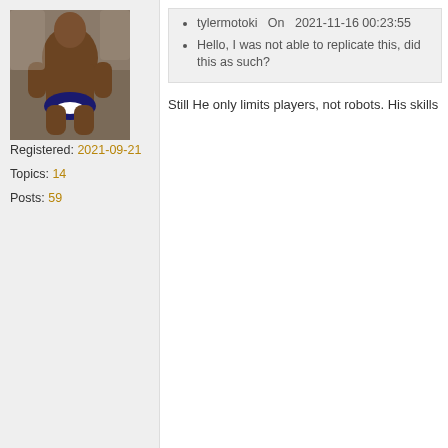[Figure (photo): Profile avatar showing a muscular man at the beach/rocks]
Registered: 2021-09-21
Topics: 14
Posts: 59
tylermotoki  On  2021-11-16 00:23:55
Hello, I was not able to replicate this, did this as such?
Still He only limits players, not robots. His skills
Reply
tylermotoki
On 2021-11-16 23:41:14 🔲 Show this Author O
[Figure (photo): Second profile avatar photo]
Ahhh okay, most PvE events have their own set